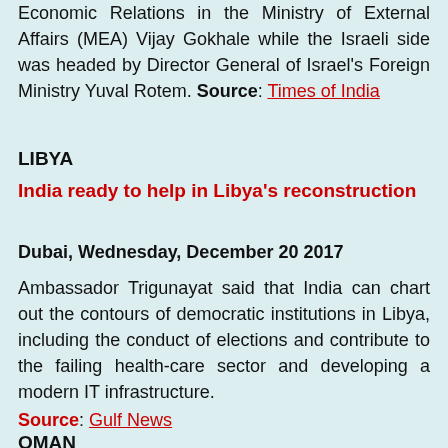Economic Relations in the Ministry of External Affairs (MEA) Vijay Gokhale while the Israeli side was headed by Director General of Israel's Foreign Ministry Yuval Rotem. Source: Times of India
LIBYA
India ready to help in Libya's reconstruction
Dubai, Wednesday, December 20 2017
Ambassador Trigunayat said that India can chart out the contours of democratic institutions in Libya, including the conduct of elections and contribute to the failing health-care sector and developing a modern IT infrastructure.
Source: Gulf News
OMAN